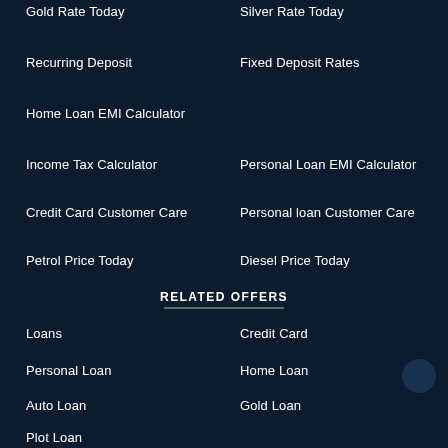Gold Rate Today
Silver Rate Today
Recurring Deposit
Fixed Deposit Rates
Home Loan EMI Calculator
Income Tax Calculator
Personal Loan EMI Calculator
Credit Card Customer Care
Personal loan Customer Care
Petrol Price Today
Diesel Price Today
RELATED OFFERS
Loans
Credit Card
Personal Loan
Home Loan
Auto Loan
Gold Loan
Plot Loan
Currency Converter
Education Loan
Two-Wheeler Loans